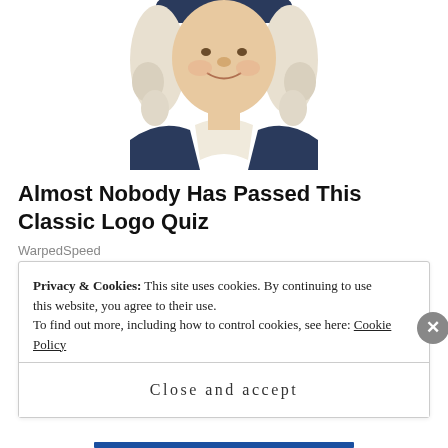[Figure (illustration): Illustrated character in colonial-style navy coat and white wig/hat, facing forward, smiling, shown from waist up — likely a brand mascot (e.g., Quaker Oats style)]
Almost Nobody Has Passed This Classic Logo Quiz
WarpedSpeed
SHARE THIS:
[Figure (infographic): Row of 5 social share icon circles: Twitter (blue), Facebook (dark blue), Pinterest (red), WhatsApp (green), Email (gray)]
Privacy & Cookies: This site uses cookies. By continuing to use this website, you agree to their use.
To find out more, including how to control cookies, see here: Cookie Policy
Close and accept